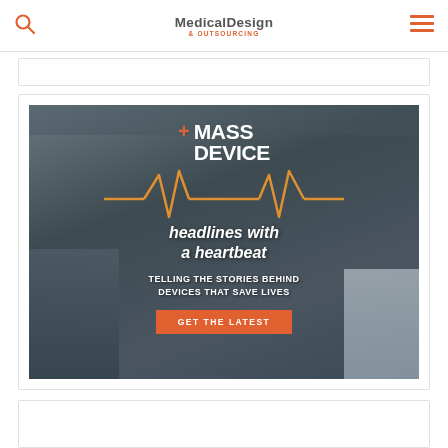Medical Design & Outsourcing
[Figure (illustration): MassDevice advertisement: '+MASS DEVICE | headlines with a heartbeat | TELLING THE STORIES BEHIND DEVICES THAT SAVE LIVES | GET THE LATEST' on a dark medical equipment room background with neon orange heartbeat line graphic.]